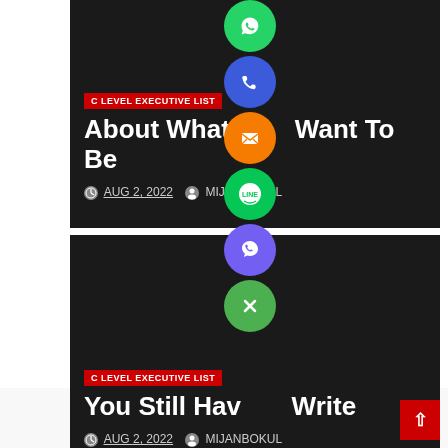[Figure (screenshot): Card 1: Dark background card with C LEVEL EXECUTIVE LIST badge, title 'About What Want To Be', date AUG 2, 2022, author MIJANBOKUL]
[Figure (screenshot): Social share icons overlaid vertically: WhatsApp (green), Phone (blue), Email (orange), LINE (green), Viber (purple), Close/X (green)]
[Figure (screenshot): Card 2: Dark background card with C LEVEL EXECUTIVE LIST badge, title 'You Still Hav Write', date AUG 2, 2022, author MIJANBOKUL]